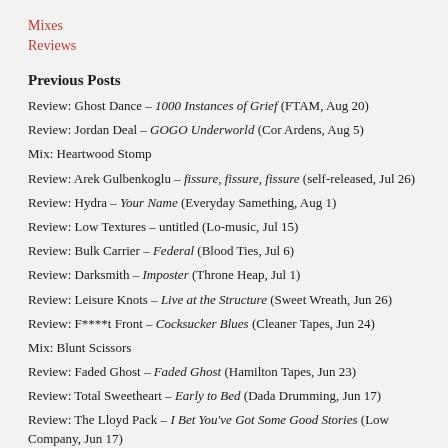Mixes
Reviews
Previous Posts
Review: Ghost Dance – 1000 Instances of Grief (FTAM, Aug 20)
Review: Jordan Deal – GOGO Underworld (Cor Ardens, Aug 5)
Mix: Heartwood Stomp
Review: Arek Gulbenkoglu – fissure, fissure, fissure (self-released, Jul 26)
Review: Hydra – Your Name (Everyday Samething, Aug 1)
Review: Low Textures – untitled (Lo-music, Jul 15)
Review: Bulk Carrier – Federal (Blood Ties, Jul 6)
Review: Darksmith – Imposter (Throne Heap, Jul 1)
Review: Leisure Knots – Live at the Structure (Sweet Wreath, Jun 26)
Review: F****t Front – Cocksucker Blues (Cleaner Tapes, Jun 24)
Mix: Blunt Scissors
Review: Faded Ghost – Faded Ghost (Hamilton Tapes, Jun 23)
Review: Total Sweetheart – Early to Bed (Dada Drumming, Jun 17)
Review: The Lloyd Pack – I Bet You've Got Some Good Stories (Low Company, Jun 17)